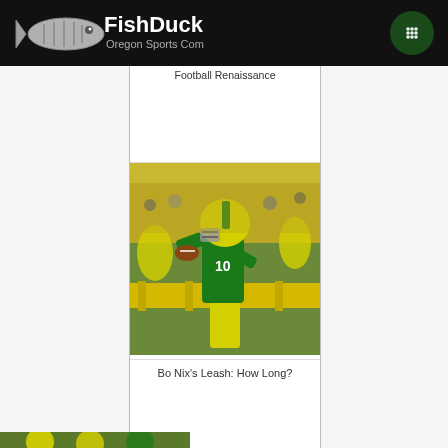FishDuck Oregon Sports Community
Football Renaissance
[Figure (photo): Oregon Ducks quarterback Bo Nix in yellow and green uniform throwing a pass during practice or game, with yellow barriers in background]
Bo Nix's Leash: How Long?
[Figure (photo): Partial image of Oregon Ducks players at bottom of page]